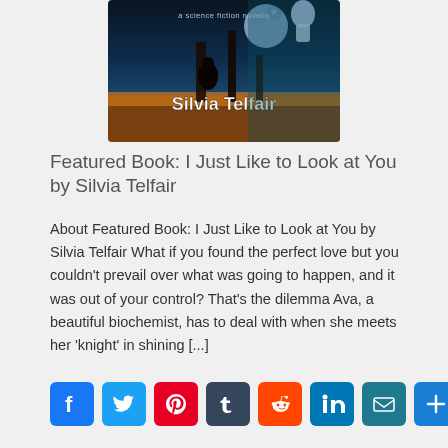[Figure (illustration): Book cover for 'I Just Like to Look at You' by Silvia Telfair — a science fiction novella. Shows a silhouetted figure against a dramatic sunset/alien landscape with the text 'a science fiction novella' at top and 'Silvia Telfair' in large white letters at the bottom.]
Featured Book: I Just Like to Look at You by Silvia Telfair
About Featured Book: I Just Like to Look at You by Silvia Telfair What if you found the perfect love but you couldn't prevail over what was going to happen, and it was out of your control? That's the dilemma Ava, a beautiful biochemist, has to deal with when she meets her 'knight' in shining [...]
[Figure (infographic): Social media sharing buttons: Facebook (blue), Twitter (light blue), Pinterest (red), Tumblr (dark navy), Reddit (orange-red), LinkedIn (teal), Email (dark teal), More/Plus (blue)]